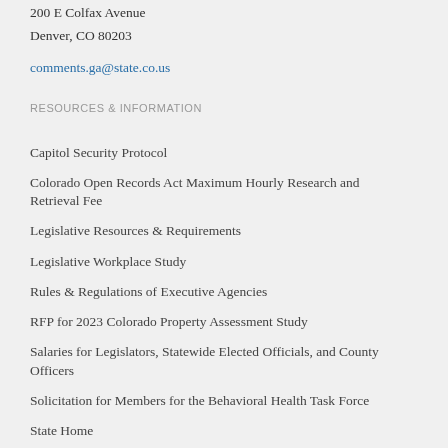200 E Colfax Avenue
Denver, CO 80203
comments.ga@state.co.us
RESOURCES & INFORMATION
Capitol Security Protocol
Colorado Open Records Act Maximum Hourly Research and Retrieval Fee
Legislative Resources & Requirements
Legislative Workplace Study
Rules & Regulations of Executive Agencies
RFP for 2023 Colorado Property Assessment Study
Salaries for Legislators, Statewide Elected Officials, and County Officers
Solicitation for Members for the Behavioral Health Task Force
State Home
Transparency Online Project